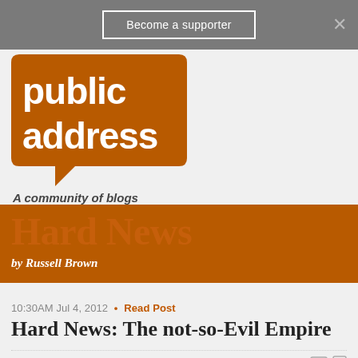Become a supporter
[Figure (logo): Public Address logo - orange speech bubble with white text 'public address', tagline 'A community of blogs']
[Figure (illustration): Hard News blog banner - brown/orange background with large semi-transparent 'Hard News' text and 'by Russell Brown' byline in white]
10:30AM Jul 4, 2012 • Read Post
Hard News: The not-so-Evil Empire
144 RESPONSES
Subscribe by
← Older 1 2 3 4 5 6 Newer →